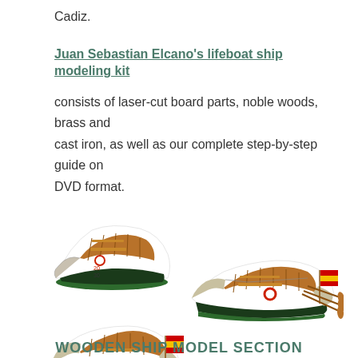Cadiz.
Juan Sebastian Elcano's lifeboat ship modeling kit
consists of laser-cut board parts, noble woods, brass and cast iron, as well as our complete step-by-step guide on DVD format.
[Figure (photo): Three views of a wooden lifeboat ship model: top-left shows bow area detail, top-right shows full side view with Spanish flag and oars, bottom-left shows stern area with Spanish flag and oars.]
WOODEN SHIP MODEL SECTION